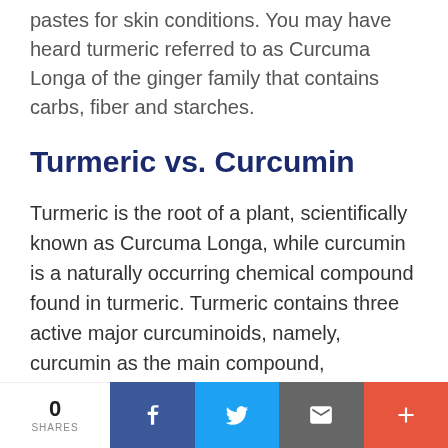pastes for skin conditions. You may have heard turmeric referred to as Curcuma Longa of the ginger family that contains carbs, fiber and starches.
Turmeric vs. Curcumin
Turmeric is the root of a plant, scientifically known as Curcuma Longa, while curcumin is a naturally occurring chemical compound found in turmeric. Turmeric contains three active major curcuminoids, namely, curcumin as the main compound, demethoxycurcumin and bisdemethoxycurcumin, which are bioactive
0 SHARES | Facebook | Twitter | Email | More